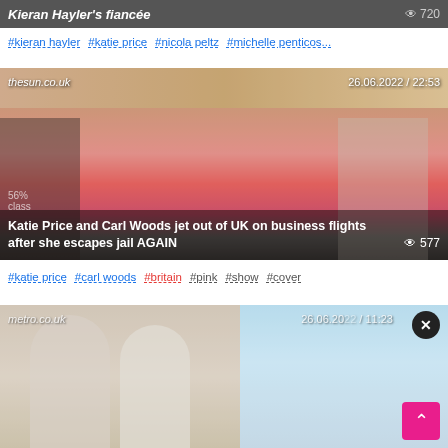[Figure (screenshot): Top card partially visible showing 'Kieran Hayler's fiancée' headline on dark background with eye icon and 720 views]
#kieran hayler  #katie price  #nicola peltz  #michelle penticos...
[Figure (screenshot): News card from thesun.co.uk dated 26.06.2022 / 22:53 showing blonde woman in pink hoodie and black cap. Headline: Katie Price and Carl Woods jet out of UK on business flights after she escapes jail AGAIN. 577 views.]
#katie price  #carl woods  #britain  #pink  #show  #cover
[Figure (screenshot): Partially visible card from metro.co.uk dated 26.06.2022 / 11:23 showing people in white clothing. Has close button (X) and back-to-top pink arrow button.]